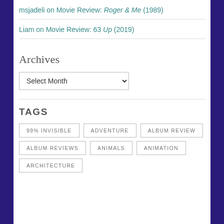msjadeli on Movie Review: Roger & Me (1989)
Liam on Movie Review: 63 Up (2019)
Archives
Select Month (dropdown)
TAGS
99% INVISIBLE
ADVENTURE
ALBUM REVIEW
ALBUM REVIEWS
ANIMALS
ANIMATION
ARCHITECTURE